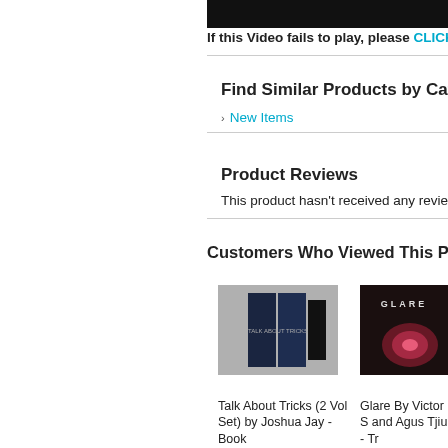[Figure (screenshot): Black video player bar at top right of page]
If this Video fails to play, please CLICK HERE
Find Similar Products by Category
New Items
Product Reviews
This product hasn't received any reviews yet.
Customers Who Viewed This Product Also
[Figure (photo): Talk About Tricks 2 Vol Set book box set with dark blue spines on gray background]
[Figure (photo): Glare by Victor S and Agus Tjiu product photo with dark red/pink glowing card on dark background with GLARE text]
Talk About Tricks (2 Vol Set) by Joshua Jay - Book
Glare By Victor S and Agus Tjiu - Tr